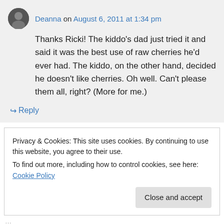Deanna on August 6, 2011 at 1:34 pm
Thanks Ricki! The kiddo's dad just tried it and said it was the best use of raw cherries he'd ever had. The kiddo, on the other hand, decided he doesn't like cherries. Oh well. Can't please them all, right? (More for me.)
↪ Reply
Privacy & Cookies: This site uses cookies. By continuing to use this website, you agree to their use.
To find out more, including how to control cookies, see here: Cookie Policy
Close and accept